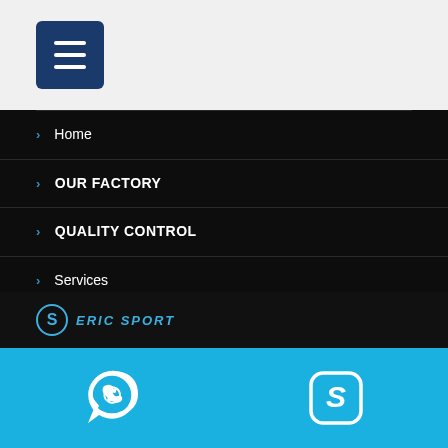[Figure (screenshot): Hamburger menu button (dark blue rounded square with three white horizontal lines) on a light gray header bar]
Home
OUR FACTORY
QUALITY CONTROL
Services
Shop
WHY TO US
[Figure (logo): Eric Sport logo with circular S icon and italic blue text ERIC SPORT]
[Figure (infographic): WhatsApp icon and Skype icon in white on a cyan/blue contact bar]